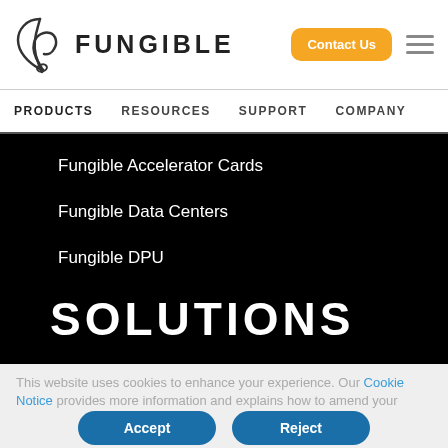[Figure (logo): Fungible company logo with stylized musical note/F icon and FUNGIBLE wordmark]
Contact Us | Navigation menu (hamburger)
PRODUCTS   RESOURCES   SUPPORT   COMPANY
Fungible Accelerator Cards
Fungible Data Centers
Fungible DPU
SOLUTIONS
This website uses cookies to enhance your experience. Our Cookie Notice provides more information and explains how to amend your cookie settings.
Accept   Reject